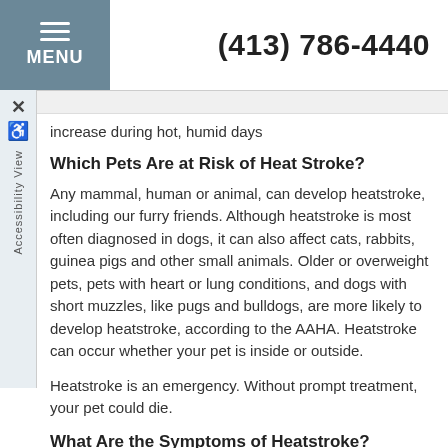MENU  (413) 786-4440
increase during hot, humid days
Which Pets Are at Risk of Heat Stroke?
Any mammal, human or animal, can develop heatstroke, including our furry friends. Although heatstroke is most often diagnosed in dogs, it can also affect cats, rabbits, guinea pigs and other small animals. Older or overweight pets, pets with heart or lung conditions, and dogs with short muzzles, like pugs and bulldogs, are more likely to develop heatstroke, according to the AAHA. Heatstroke can occur whether your pet is inside or outside.
Heatstroke is an emergency. Without prompt treatment, your pet could die.
What Are the Symptoms of Heatstroke?
You may notice some of these symptoms if you're pet has heatstroke: